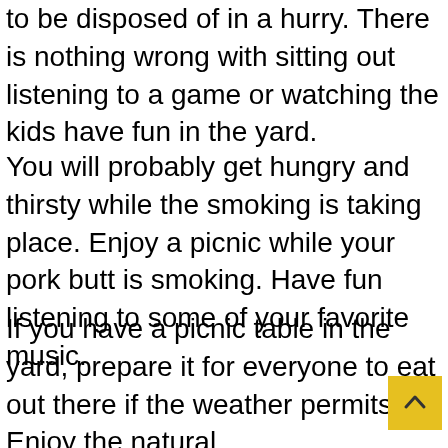to be disposed of in a hurry. There is nothing wrong with sitting out listening to a game or watching the kids have fun in the yard.
You will probably get hungry and thirsty while the smoking is taking place. Enjoy a picnic while your pork butt is smoking. Have fun listening to some of your favorite music.
If you have a picnic table in the yard, prepare it for everyone to eat out there if the weather permits. Enjoy the natural